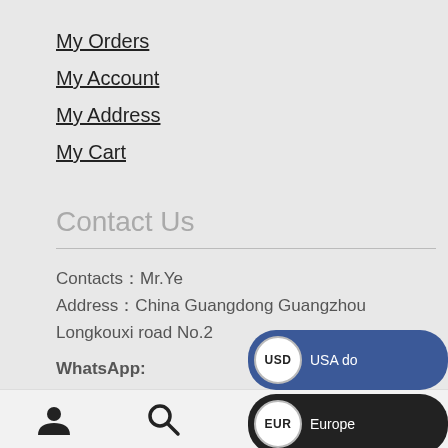My Orders
My Account
My Address
My Cart
Contact Us
Contacts：Mr.Ye
Address：China Guangdong Guangzhou Longkouxi road No.2
WhatsApp:
+86 13922143446
user icon | search icon | cart 0 | chat icon